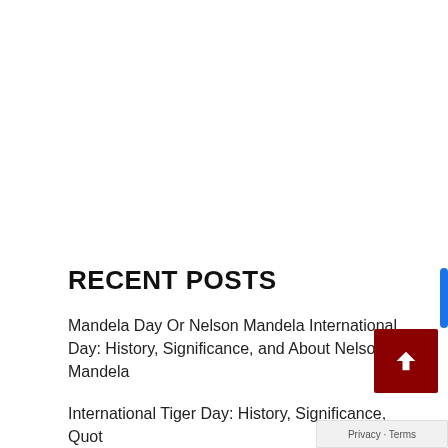RECENT POSTS
Mandela Day Or Nelson Mandela International Day: History, Significance, and About Nelson Mandela
International Tiger Day: History, Significance, Quotes, and Messages